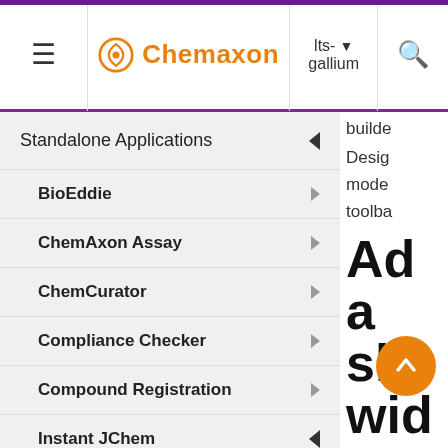Chemaxon | lts-gallium
Standalone Applications
BioEddie
ChemAxon Assay
ChemCurator
Compliance Checker
Compound Registration
Instant JChem
Instant Jchem User Guide
Getting Started
builder Design mode toolba Addo a she wid To